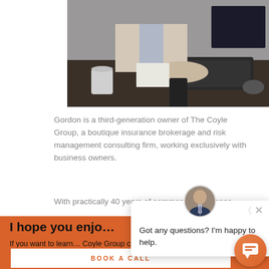[Figure (photo): Person at a desk with a keyboard, mouse, coffee cup, and papers — business office setting]
Gordon is a third-generation owner of The Coyle Group, a boutique insurance brokerage and risk management consulting firm, working exclusively with business owners.
With practically 40 years of commercial insurance
I hope you enjo…
If you want to learn… Coyle Group can improve your protection and reduce your costs, just book a call.
[Figure (screenshot): Chat popup widget with avatar, close button, and message: Got any questions? I'm happy to help.]
BOOK A CALL